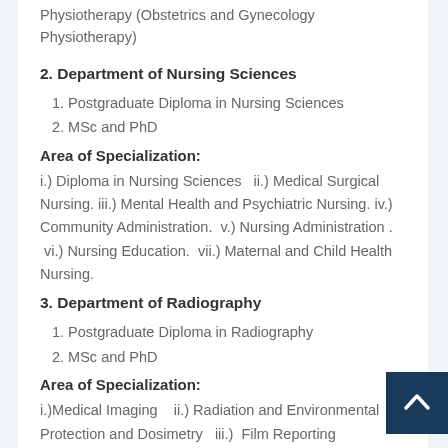Physiotherapy (Obstetrics and Gynecology Physiotherapy)
2. Department of Nursing Sciences
1. Postgraduate Diploma in Nursing Sciences
2. MSc and PhD
Area of Specialization:
i.) Diploma in Nursing Sciences  ii.) Medical Surgical Nursing.  iii.) Mental Health and Psychiatric Nursing.  iv.) Community Administration.  v.) Nursing Administration .  vi.) Nursing Education.  vii.) Maternal and Child Health Nursing.
3. Department of Radiography
1. Postgraduate Diploma in Radiography
2. MSc and PhD
Area of Specialization:
i.)Medical Imaging   ii.) Radiation and Environmental Protection and Dosimetry   iii.)  Film Reporting   iv.)Radiological Education    v.) Medical Physics   vi.)  Radiological Health Management   vii.) Radiotherapy and